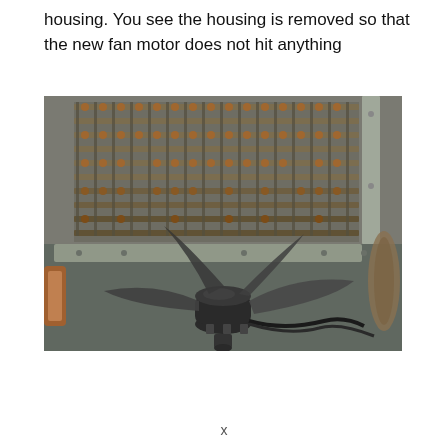housing. You see the housing is removed so that the new fan motor does not hit anything
[Figure (photo): Photograph of an HVAC/refrigeration unit with the fan housing removed. The upper portion shows a condenser or evaporator coil with copper tubes and metal fins covered in dust and grime. In the lower center, a black cylindrical fan motor with a multi-blade fan/propeller is visible, positioned below the coil without a housing enclosure. Copper pipes and wiring are visible around the motor.]
x